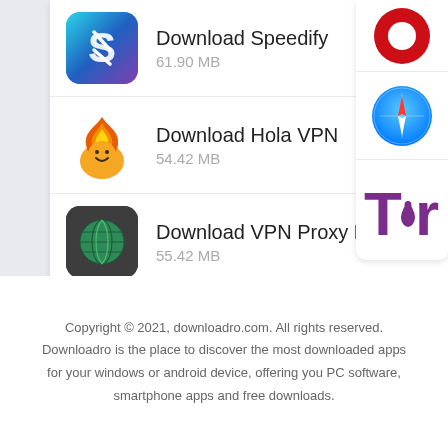[Figure (screenshot): App listing row: Download Speedify, 61.90 MB with Speedify app icon]
[Figure (screenshot): App listing row: Download Hola VPN, 54.42 MB with Hola VPN flame icon]
[Figure (screenshot): App listing row: Download VPN Proxy Master, 55.42 MB with globe icon]
[Figure (screenshot): Right panel: Opera browser logo (red O)]
[Figure (screenshot): Right panel: Safari browser icon (blue compass)]
[Figure (screenshot): Right panel: Tor browser logo (purple text with onion)]
Copyright © 2021, downloadro.com. All rights reserved. Downloadro is the place to discover the most downloaded apps for your windows or android device, offering you PC software, smartphone apps and free downloads.